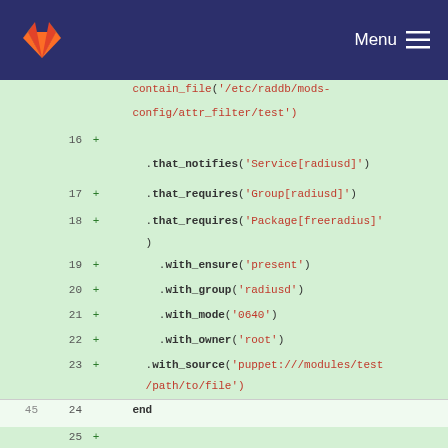[Figure (screenshot): GitLab navigation bar with orange fox logo on the left and 'Menu' with hamburger icon on the right, dark navy background]
Code diff view showing lines 16-26 (added, green background) and line 45-47 (mixed). Lines include: contain_file('/etc/raddb/mods-config/attr_filter/test'), .that_notifies('Service[radiusd]'), .that_requires('Group[radiusd]'), .that_requires('Package[freeradius]'), .with_ensure('present'), .with_group('radiusd'), .with_mode('0640'), .with_owner('root'), .with_source('puppet:///modules/test/path/to/file'), end, (blank), it do, is expected.to